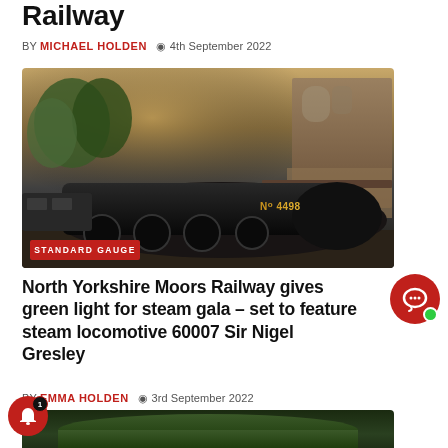Railway
BY MICHAEL HOLDEN  4th September 2022
[Figure (photo): Steam locomotive No. 4498 at a station platform with stone station building visible, badge reading STANDARD GAUGE]
North Yorkshire Moors Railway gives green light for steam gala – set to feature steam locomotive 60007 Sir Nigel Gresley
BY EMMA HOLDEN  3rd September 2022
[Figure (photo): Close-up of a green steam locomotive boiler/side]